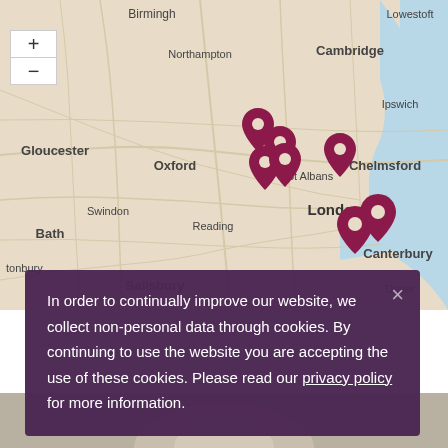[Figure (map): Interactive map of southern England showing location pins around London, St Albans area. Map labels include Birmingham, Lowestoft, Northampton, Cambridge, Ipswich, Gloucester, Oxford, St Albans, Chelmsford, Swindon, Reading, London, Bath, Canterbury, Dover, Salisbury, Tonbury. Multiple dark red/maroon location pins clustered around London/St Albans area.]
In order to continually improve our website, we collect non-personal data through cookies. By continuing to use the website you are accepting the use of these cookies. Please read our privacy policy for more information.